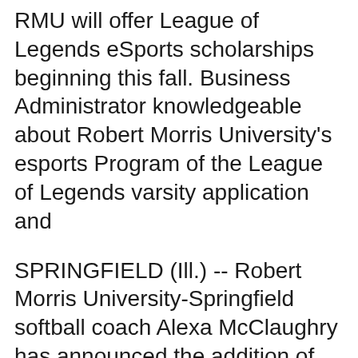RMU will offer League of Legends eSports scholarships beginning this fall. Business Administrator knowledgeable about Robert Morris University's esports Program of the League of Legends varsity application and
SPRINGFIELD (Ill.) -- Robert Morris University-Springfield softball coach Alexa McClaughry has announced the addition of pitcher Stephanie Alagna to the Eagles roster. UMN League of Legends #2915; Keele eSports; Robert Morris University; Midland University; Apply for sponsorship using the TEAM APPLICATION link above.
Quest Nutrition and Robert Morris